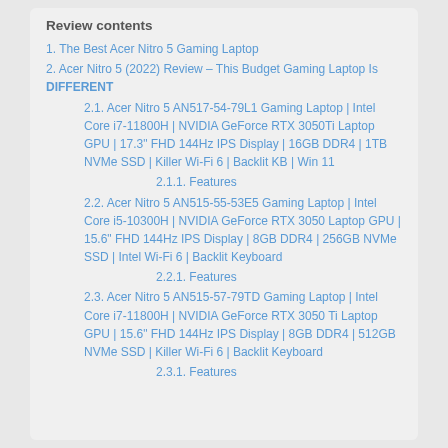Review contents
1. The Best Acer Nitro 5 Gaming Laptop
2. Acer Nitro 5 (2022) Review – This Budget Gaming Laptop Is DIFFERENT
2.1. Acer Nitro 5 AN517-54-79L1 Gaming Laptop | Intel Core i7-11800H | NVIDIA GeForce RTX 3050Ti Laptop GPU | 17.3" FHD 144Hz IPS Display | 16GB DDR4 | 1TB NVMe SSD | Killer Wi-Fi 6 | Backlit KB | Win 11
2.1.1. Features
2.2. Acer Nitro 5 AN515-55-53E5 Gaming Laptop | Intel Core i5-10300H | NVIDIA GeForce RTX 3050 Laptop GPU | 15.6" FHD 144Hz IPS Display | 8GB DDR4 | 256GB NVMe SSD | Intel Wi-Fi 6 | Backlit Keyboard
2.2.1. Features
2.3. Acer Nitro 5 AN515-57-79TD Gaming Laptop | Intel Core i7-11800H | NVIDIA GeForce RTX 3050 Ti Laptop GPU | 15.6" FHD 144Hz IPS Display | 8GB DDR4 | 512GB NVMe SSD | Killer Wi-Fi 6 | Backlit Keyboard
2.3.1. Features